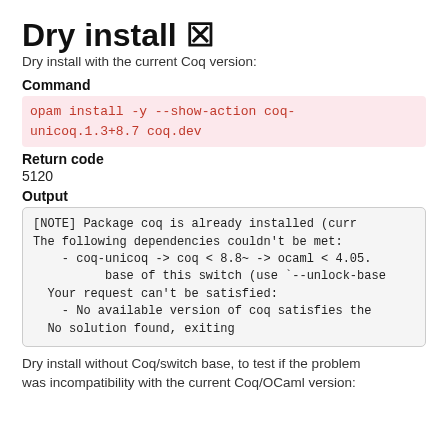Dry install ✗
Dry install with the current Coq version:
Command
opam install -y --show-action coq-unicoq.1.3+8.7 coq.dev
Return code
5120
Output
[NOTE] Package coq is already installed (curr
The following dependencies couldn't be met:
    - coq-unicoq -> coq < 8.8~ -> ocaml < 4.05.
          base of this switch (use `--unlock-base
  Your request can't be satisfied:
    - No available version of coq satisfies the
  No solution found, exiting
Dry install without Coq/switch base, to test if the problem was incompatibility with the current Coq/OCaml version: